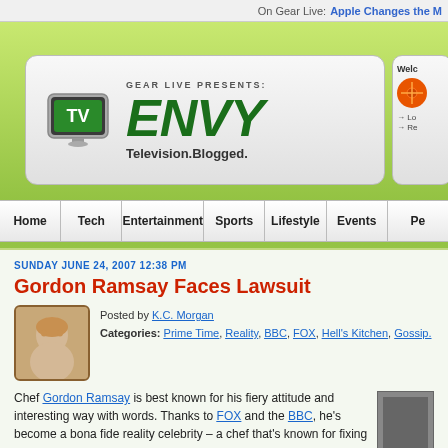On Gear Live: Apple Changes the M
[Figure (logo): TV Envy logo banner: TV icon on screen, 'GEAR LIVE PRESENTS: ENVY Television.Blogged.']
[Figure (other): Gear Live sidebar widget with orange circle logo, Welcome text, Log in and Register links]
Gordon Ramsay Faces Lawsuit
SUNDAY JUNE 24, 2007 12:38 PM
Posted by K.C. Morgan
Categories: Prime Time, Reality, BBC, FOX, Hell's Kitchen, Gossip.
Chef Gordon Ramsay is best known for his fiery attitude and interesting way with words. Thanks to FOX and the BBC, he's become a bona fide reality celebrity – a chef that's known for fixing